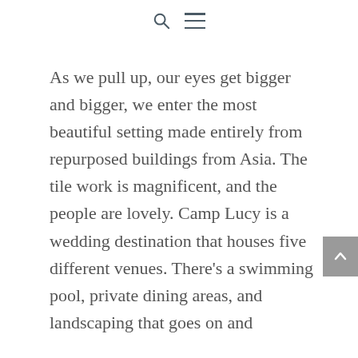[search icon] [menu icon]
As we pull up, our eyes get bigger and bigger, we enter the most beautiful setting made entirely from repurposed buildings from Asia. The tile work is magnificent, and the people are lovely. Camp Lucy is a wedding destination that houses five different venues. There’s a swimming pool, private dining areas, and landscaping that goes on and